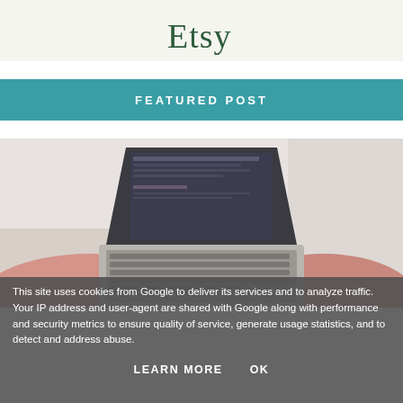[Figure (logo): Etsy logo with decorative illustration at top of page]
FEATURED POST
[Figure (photo): Person typing on a laptop computer, viewed from above, lying on white bedding, wearing pink/salmon long-sleeve shirt]
This site uses cookies from Google to deliver its services and to analyze traffic. Your IP address and user-agent are shared with Google along with performance and security metrics to ensure quality of service, generate usage statistics, and to detect and address abuse.
LEARN MORE   OK